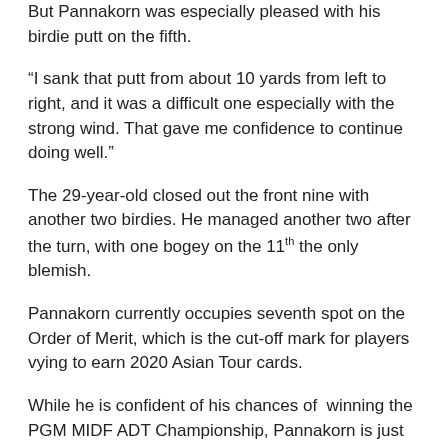But Pannakorn was especially pleased with his birdie putt on the fifth.
“I sank that putt from about 10 yards from left to right, and it was a difficult one especially with the strong wind. That gave me confidence to continue doing well.”
The 29-year-old closed out the front nine with another two birdies. He managed another two after the turn, with one bogey on the 11th the only blemish.
Pannakorn currently occupies seventh spot on the Order of Merit, which is the cut-off mark for players vying to earn 2020 Asian Tour cards.
While he is confident of his chances of winning the PGM MIDF ADT Championship, Pannakorn is just enjoying his game at the moment.
“I’m in the same group as Kim who is my good friend, so it’s been nice. I have a good feeling (about winning), but there are still two rounds to go,” he added.
Foo, who trails Pannakorn by six shots , is hoping to close the gap after he traded six birdies against one bogey and a double-bogey five on 16.